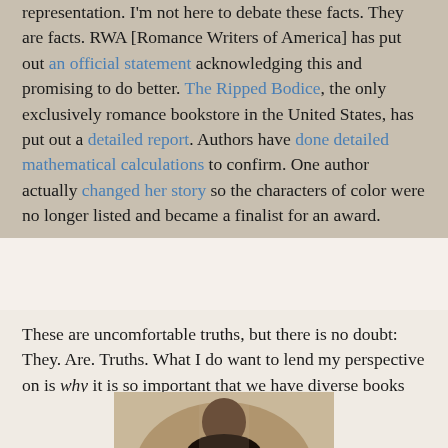representation. I'm not here to debate these facts. They are facts. RWA [Romance Writers of America] has put out an official statement acknowledging this and promising to do better. The Ripped Bodice, the only exclusively romance bookstore in the United States, has put out a detailed report. Authors have done detailed mathematical calculations to confirm. One author actually changed her story so the characters of color were no longer listed and became a finalist for an award.
These are uncomfortable truths, but there is no doubt: They. Are. Truths. What I do want to lend my perspective on is why it is so important that we have diverse books by sharing some very personal and uncomfortable truths of my own.
[Figure (photo): A partial photograph of a person, cropped to show head and upper body, with sepia/vintage tone, oval-framed at the bottom of the page.]